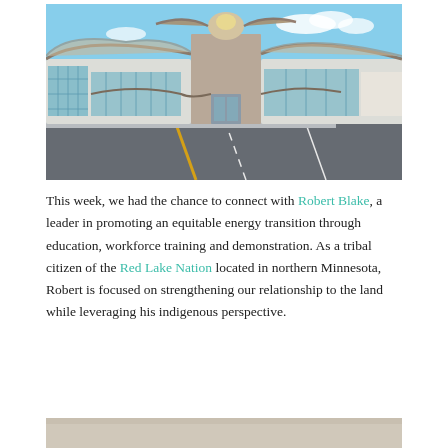[Figure (photo): Exterior photo of a modern building designed to resemble a bird with outstretched wings, featuring glass walls and a large eagle sculpture on top. A road runs in front of the building under a blue sky.]
This week, we had the chance to connect with Robert Blake, a leader in promoting an equitable energy transition through education, workforce training and demonstration. As a tribal citizen of the Red Lake Nation located in northern Minnesota, Robert is focused on strengthening our relationship to the land while leveraging his indigenous perspective.
[Figure (photo): Bottom portion of a second photo, showing a light tan/beige landscape scene, partially visible.]